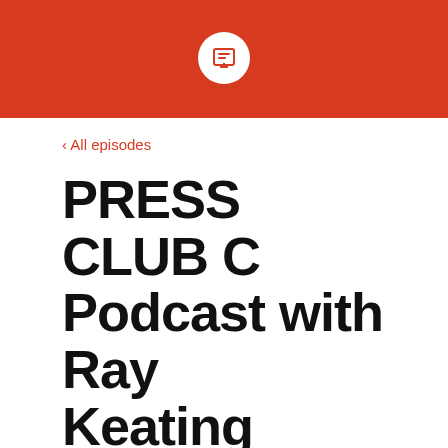[Figure (logo): Red header bar with white circular podcast icon in the center]
‹ All episodes
PRESS CLUB C Podcast with Ray Keating
Episode #65: Celebrating Disney World at 50 with Chris Lucas
NOVEMBER 02, 2021   RAY KEATING   SEASON 2   EPISODE 65
[Figure (screenshot): Embedded podcast player preview showing PRESS CLUB C Podcast with Ray... and Episode #65: Celeb...]